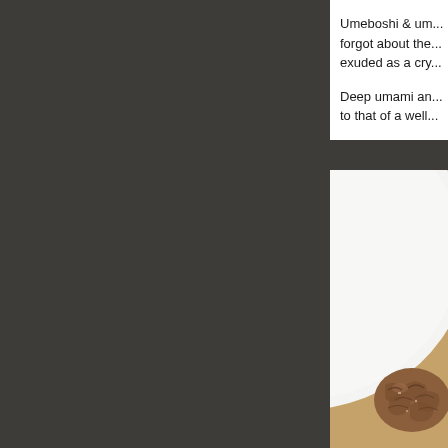[Figure (other): Dark gray/charcoal background panel occupying the left approximately three-quarters of the page]
Umeboshi & um... forgot about the... exuded as a cry...
Deep umami an... to that of a well...
[Figure (photo): Close-up photo of umeboshi (Japanese pickled plum) on a white ceramic plate against a warm wooden background. The umeboshi appears brown/reddish-brown and wrinkled in texture.]